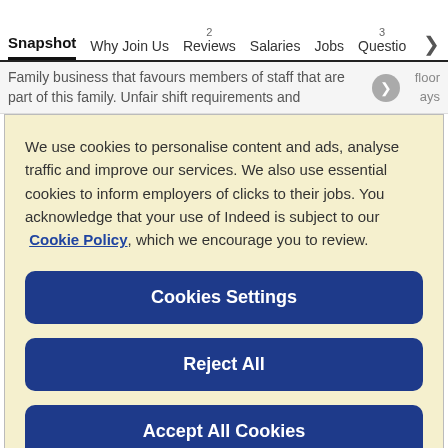Snapshot  Why Join Us  2 Reviews  Salaries  Jobs  3 Questio >
Family business that favours members of staff that are part of this family. Unfair shift requirements and   floor days
We use cookies to personalise content and ads, analyse traffic and improve our services. We also use essential cookies to inform employers of clicks to their jobs. You acknowledge that your use of Indeed is subject to our Cookie Policy, which we encourage you to review.
Cookies Settings
Reject All
Accept All Cookies